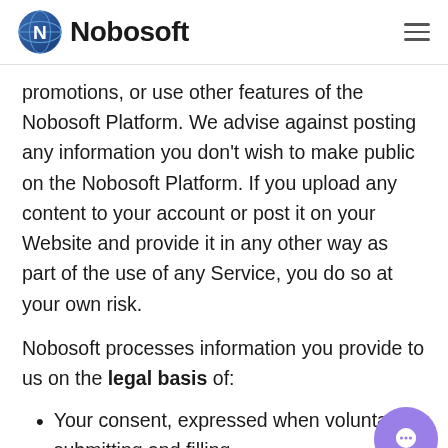Nobosoft
promotions, or use other features of the Nobosoft Platform. We advise against posting any information you don't wish to make public on the Nobosoft Platform. If you upload any content to your account or post it on your Website and provide it in any other way as part of the use of any Service, you do so at your own risk.
Nobosoft processes information you provide to us on the legal basis of:
Your consent, expressed when voluntarily submitting and filling